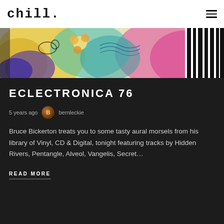chill.
[Figure (illustration): Colorful abstract/psychedelic illustration with flowers, animals and zebra-stripe patterns in yellow, pink, teal and purple tones]
ECLECTRONICA 76
5 years ago  bernleckie
Bruce Bickerton treats you to some tasty aural morsels from his library of Vinyl, CD & Digital, tonight featuring tracks by Hidden Rivers, Pentangle, Alveol, Vangelis, Secret…
READ MORE